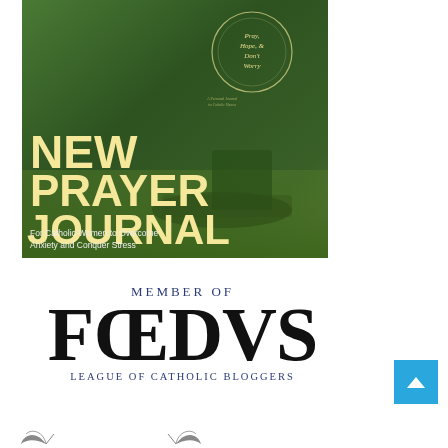[Figure (illustration): Book advertisement image for 'Pray, Hope, & Don't Worry' prayer journal. Dark green background with large bold yellow text reading 'NEW PRAYER JOURNAL' and subtitle 'For Catholic Women to Overcome Anxiety and Conquer Stress'. A decorative circular wreath design on a book cover is visible in the upper right area.]
[Figure (logo): FOEDVS League of Catholic Bloggers membership logo. Shows 'MEMBER OF' in small spaced blue caps, then 'FOEDVS' in very large serif black letters, then 'LEAGUE OF CATHOLIC BLOGGERS' in smaller spaced blue caps below.]
[Figure (illustration): Decorative leaf/floral flourish at bottom of page, partially visible.]